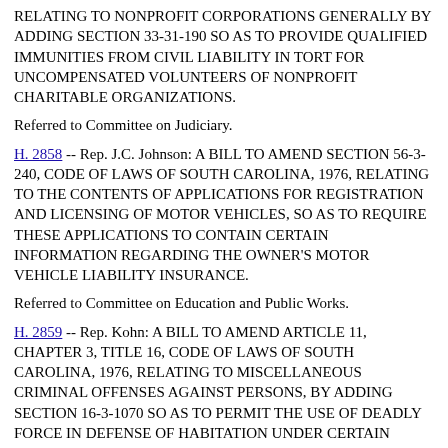RELATING TO NONPROFIT CORPORATIONS GENERALLY BY ADDING SECTION 33-31-190 SO AS TO PROVIDE QUALIFIED IMMUNITIES FROM CIVIL LIABILITY IN TORT FOR UNCOMPENSATED VOLUNTEERS OF NONPROFIT CHARITABLE ORGANIZATIONS.
Referred to Committee on Judiciary.
H. 2858 -- Rep. J.C. Johnson: A BILL TO AMEND SECTION 56-3-240, CODE OF LAWS OF SOUTH CAROLINA, 1976, RELATING TO THE CONTENTS OF APPLICATIONS FOR REGISTRATION AND LICENSING OF MOTOR VEHICLES, SO AS TO REQUIRE THESE APPLICATIONS TO CONTAIN CERTAIN INFORMATION REGARDING THE OWNER'S MOTOR VEHICLE LIABILITY INSURANCE.
Referred to Committee on Education and Public Works.
H. 2859 -- Rep. Kohn: A BILL TO AMEND ARTICLE 11, CHAPTER 3, TITLE 16, CODE OF LAWS OF SOUTH CAROLINA, 1976, RELATING TO MISCELLANEOUS CRIMINAL OFFENSES AGAINST PERSONS, BY ADDING SECTION 16-3-1070 SO AS TO PERMIT THE USE OF DEADLY FORCE IN DEFENSE OF HABITATION UNDER CERTAIN CONDITIONS.